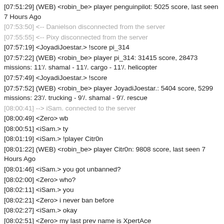[07:51:29] (WEB) <robin_be> player penguinpilot: 5025 score, last seen 7 Hours Ago
[07:53:50] <-- Danielson disconnected from the server
[07:55:55] <-- Pixy disconnected from the server
[07:57:19] <JoyadiJoestar.> !score pi_314
[07:57:22] (WEB) <robin_be> player pi_314: 31415 score, 28473 missions: 11'/. shamal - 11'/. cargo - 11'/. helicopter
[07:57:49] <JoyadiJoestar.> !score
[07:57:52] (WEB) <robin_be> player JoyadiJoestar.: 5404 score, 5299 missions: 23'/. trucking - 9'/. shamal - 9'/. rescue
[08:00:41] --> iSam. connected to the server
[08:00:49] <Zero> wb
[08:00:51] <iSam.> ty
[08:01:19] <iSam.> !player Citr0n
[08:01:22] (WEB) <robin_be> player Citr0n: 9808 score, last seen 7 Hours Ago
[08:01:46] <iSam.> you got unbanned?
[08:02:00] <Zero> who?
[08:02:11] <iSam.> you
[08:02:21] <Zero> i never ban before
[08:02:27] <iSam.> okay
[08:02:51] <Zero> my last prev name is XpertAce
[08:03:07] <iSam.> your forum name is Zero_Blade?
[08:03:13] <Zero> no
[08:03:16] <JoyadiJoestar.> umm.. he's not zero blade